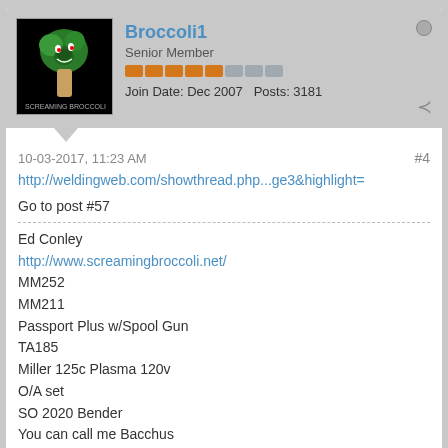Broccoli1
Senior Member
Join Date: Dec 2007   Posts: 3181
10-03-2017, 11:23 AM
#4
http://weldingweb.com/showthread.php...ge3&highlight=
Go to post #57
Ed Conley
http://www.screamingbroccoli.net/
MM252
MM211
Passport Plus w/Spool Gun
TA185
Miller 125c Plasma 120v
O/A set
SO 2020 Bender
You can call me Bacchus
bababouy